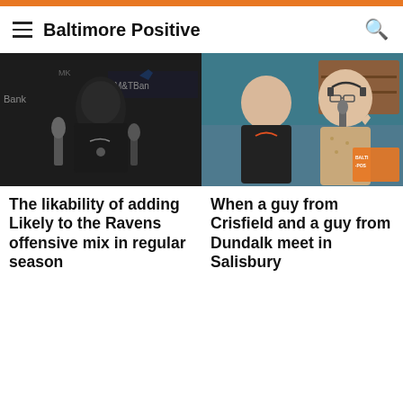Baltimore Positive
[Figure (photo): NFL player at press conference podium with M&T Bank backdrop, wearing Nike shirt, microphones in front]
The likability of adding Likely to the Ravens offensive mix in regular season
[Figure (photo): Two men in a restaurant/bar setting, one holding a small microphone, both smiling, Baltimore Positive logo visible]
When a guy from Crisfield and a guy from Dundalk meet in Salisbury
[Figure (infographic): Orange promotional banner with black triangle and 'Nestor Aparicio' name badge in black box, partial image at bottom]